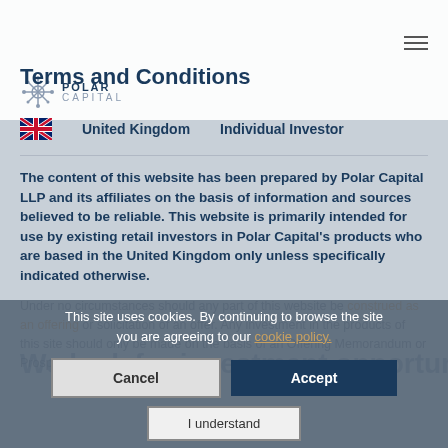Polar Capital | Terms and Conditions
Terms and Conditions
United Kingdom   Individual Investor
The content of this website has been prepared by Polar Capital LLP and its affiliates on the basis of information and sources believed to be reliable. This website is primarily intended for use by existing retail investors in Polar Capital's products who are based in the United Kingdom only unless specifically indicated otherwise.
Under no circumstances should any part of this website be construed as an offering or solicitation of an offer. Any investment in the products of this site should only be made on the basis of an Offering Memorandum or Prospectus.
This site uses cookies. By continuing to browse the site you are agreeing to our cookie policy.